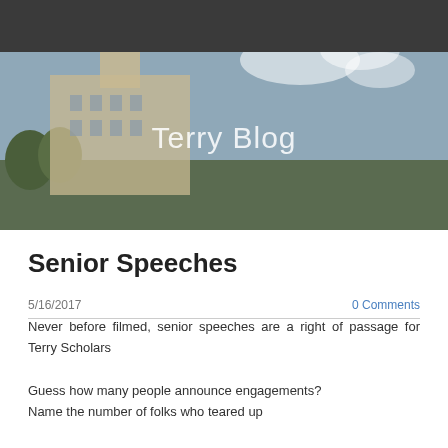Terry Blog
[Figure (photo): Hero image of a historic university building (clock tower / ornate architecture) against a partly cloudy sky, with trees in the foreground. Overlaid with 'Terry Blog' text.]
Senior Speeches
5/16/2017
0 Comments
Never before filmed, senior speeches are a right of passage for Terry Scholars
Guess how many people announce engagements?
Name the number of folks who teared up